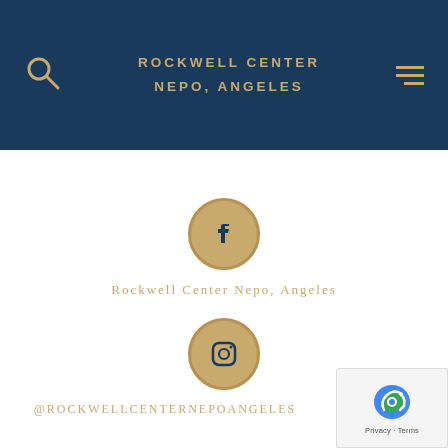ROCKWELL CENTER NEPO, ANGELES
[Figure (logo): Facebook icon in golden circle]
Rockwell Center Nepo, Angeles
[Figure (logo): Instagram icon in golden circle]
@ROCKWELLCENTERNEPOANGELES
[Figure (other): Google reCAPTCHA badge with Privacy and Terms links]